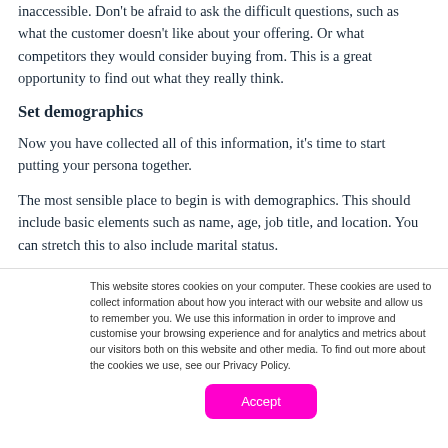inaccessible. Don't be afraid to ask the difficult questions, such as what the customer doesn't like about your offering. Or what competitors they would consider buying from. This is a great opportunity to find out what they really think.
Set demographics
Now you have collected all of this information, it's time to start putting your persona together.
The most sensible place to begin is with demographics. This should include basic elements such as name, age, job title, and location. You can stretch this to also include marital status.
This website stores cookies on your computer. These cookies are used to collect information about how you interact with our website and allow us to remember you. We use this information in order to improve and customise your browsing experience and for analytics and metrics about our visitors both on this website and other media. To find out more about the cookies we use, see our Privacy Policy.
Accept